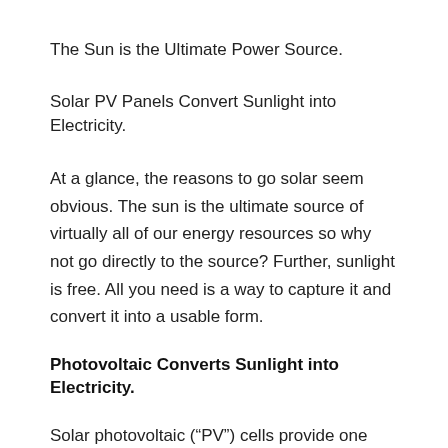The Sun is the Ultimate Power Source.
Solar PV Panels Convert Sunlight into Electricity.
At a glance, the reasons to go solar seem obvious. The sun is the ultimate source of virtually all of our energy resources so why not go directly to the source? Further, sunlight is free. All you need is a way to capture it and convert it into a usable form.
Photovoltaic Converts Sunlight into Electricity.
Solar photovoltaic (“PV”) cells provide one way of doing exactly that. I’m going to assume that you